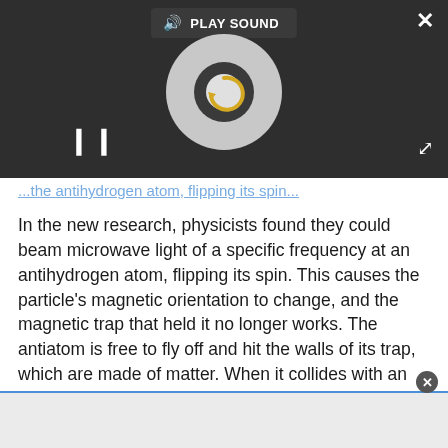[Figure (screenshot): Media player overlay on a dark background showing a spinning disc/vinyl graphic with a golden circular arrow icon, a PLAY SOUND button in the top bar, a pause button (||) at bottom left, a close (X) button at top right, and an expand arrows button at bottom right.]
...the antihydrogen atom, flipping its spin...
In the new research, physicists found they could beam microwave light of a specific frequency at an antihydrogen atom, flipping its spin. This causes the particle's magnetic orientation to change, and the magnetic trap that held it no longer works. The antiatom is free to fly off and hit the walls of its trap, which are made of matter. When it collides with an atom in the wall, the antiatom is annihilated along...